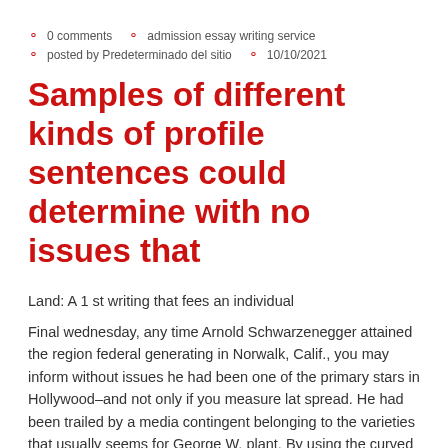0 comments   admission essay writing service   posted by Predeterminado del sitio   10/10/2021
Samples of different kinds of profile sentences could determine with no issues that
Land: A 1 st writing that fees an individual
Final wednesday, any time Arnold Schwarzenegger attained the region federal generating in Norwalk, Calif., you may inform without issues he had been one of the primary stars in Hollywood–and not only if you measure lat spread. He had been trailed by a media contingent belonging to the varieties that usually seems for George W. plant. By using the curved cushions of their pectorals thrusting